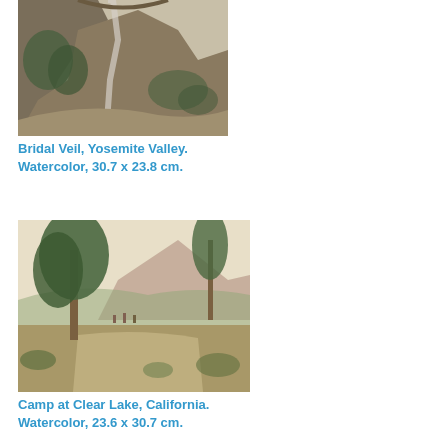[Figure (illustration): Watercolor painting of Bridal Veil, Yosemite Valley — rocky mountainside with waterfall and vegetation]
Bridal Veil, Yosemite Valley. Watercolor, 30.7 x 23.8 cm.
[Figure (illustration): Watercolor painting of Camp at Clear Lake, California — landscape with large trees, open meadow, mountain in background, and small figures]
Camp at Clear Lake, California. Watercolor, 23.6 x 30.7 cm.